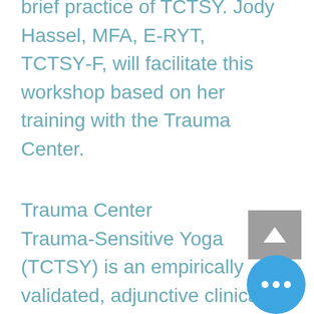brief practice of TCTSY. Jody Hassel, MFA, E-RYT, TCTSY-F, will facilitate this workshop based on her training with the Trauma Center.
Trauma Center Trauma-Sensitive Yoga (TCTSY) is an empirically validated, adjunctive clinical treatment for complex trauma or chronic, treatment-resistant PTSD. Developed at the Trauma Center in Brookline Massachusetts, TSY has foundations in Trauma Theory